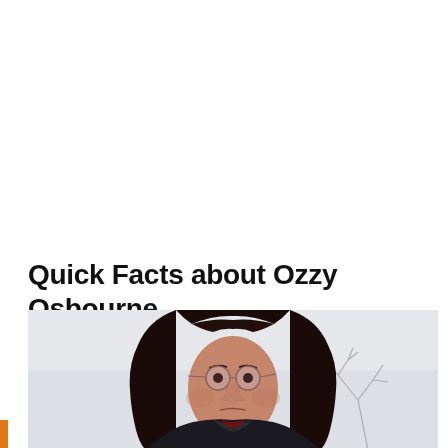Quick Facts about Ozzy Osbourne
[Figure (photo): Photo of Ozzy Osbourne with long dark hair and round tinted glasses, wearing a dark jacket, photographed outdoors against a pale sky with bare tree branches visible in the background.]